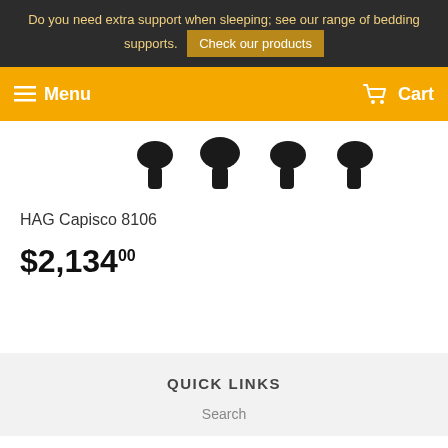Do you need extra support when sleeping; see our range of bedding supports. Check our products
Menu  Cart
[Figure (photo): Partial view of a chair base with black casters on white background]
HAG Capisco 8106
$2,134.00
QUICK LINKS
Search